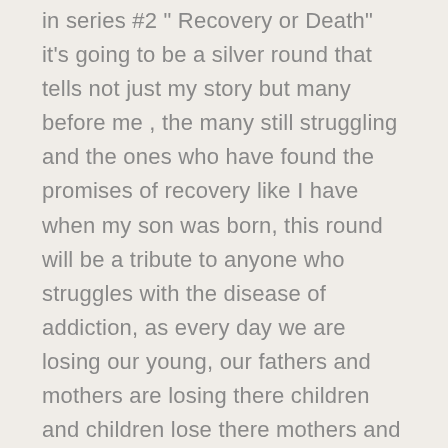in series #2 " Recovery or Death" it's going to be a silver round that tells not just my story but many before me , the many still struggling and the ones who have found the promises of recovery like I have when my son was born, this round will be a tribute to anyone who struggles with the disease of addiction, as every day we are losing our young, our fathers and mothers are losing there children and children lose there mothers and fathers as there are only 3 endings to this disease when still active "jails , institutions, as and Death, and only one way out and that is recovery! I'm seeing it more and more everyday and seeing friends go so fast lately and as of this writing I lost another friend just yesterday to